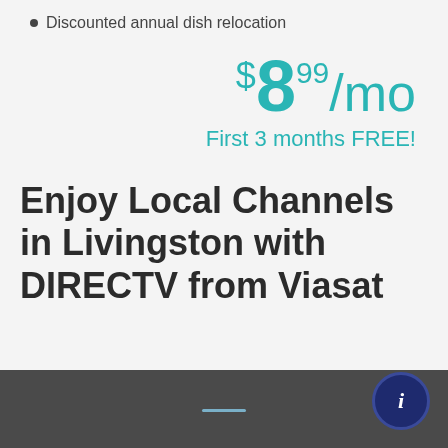Discounted annual dish relocation
$8.99/mo
First 3 months FREE!
Enjoy Local Channels in Livingston with DIRECTV from Viasat
[Figure (other): Dark gray section footer with a horizontal blue accent line and a circular navy blue info button with italic letter i]